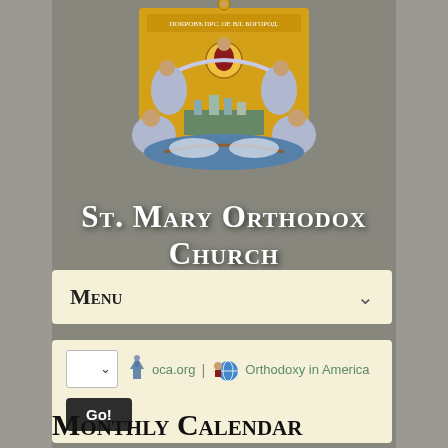[Figure (illustration): Orthodox icon illustration showing the Virgin Mary with angels and a cityscape, on a gold background, centered at the top of the page over an aerial city background]
St. Mary Orthodox Church
Menu
oca.org | Orthodoxy in America
Go!
Monthly Calendar